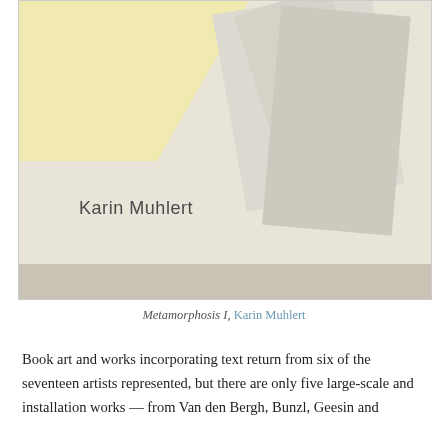[Figure (photo): Close-up photograph of an artist book or artwork titled 'Metamorphosis I' by Karin Muhlert. The image shows a beige/cream colored surface with a yellow geometric shape in the upper left and layered paper or card shapes (triangular/folded) in greys on the right side. The name 'Karin Muhlert' is printed in dark grey text on the lower-left portion of the book cover.]
Metamorphosis I, Karin Muhlert
Book art and works incorporating text return from six of the seventeen artists represented, but there are only five large-scale and installation works — from Van den Bergh, Bunzl, Geesin and